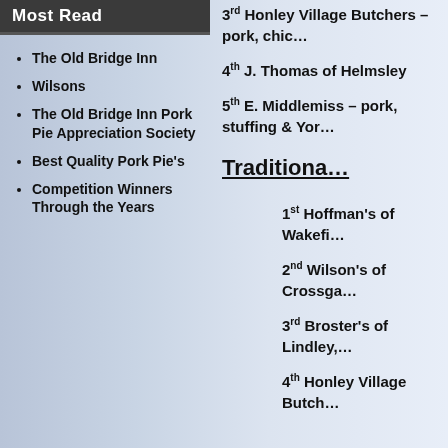Most Read
The Old Bridge Inn
Wilsons
The Old Bridge Inn Pork Pie Appreciation Society
Best Quality Pork Pie's
Competition Winners Through the Years
3rd Honley Village Butchers – pork, chic…
4th J. Thomas of Helmsley
5th E. Middlemiss – pork, stuffing & Yor…
Traditiona…
1st Hoffman's of Wakefi…
2nd Wilson's of Crossga…
3rd Broster's of Lindley,…
4th Honley Village Butch…
Mr Pastry to Miss Top Pie Festival…
Pie Club History
A Former pork pie maker will miss the cha…